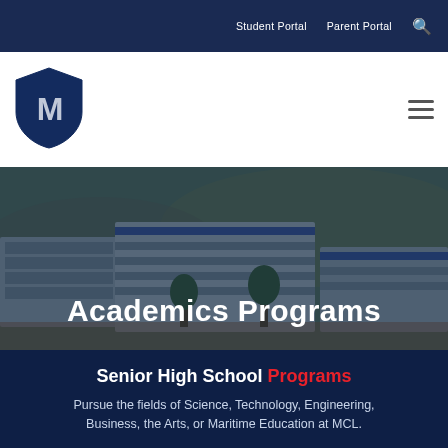Student Portal   Parent Portal
[Figure (logo): MCL school shield logo in dark navy blue with a stylized white M letter]
Academics Programs
Senior High School Programs
Pursue the fields of Science, Technology, Engineering, Business, the Arts, or Maritime Education at MCL.